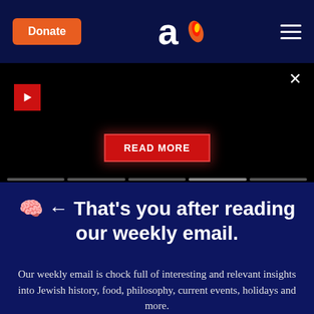Donate | [Aish.com logo] | Menu
[Figure (screenshot): Black video/promo panel with red play button in top-left, close X button in top-right, and a red 'READ MORE' button centered near the bottom with a glowing red border effect. Five progress indicator dots at the bottom.]
🧠 ← That's you after reading our weekly email.
Our weekly email is chock full of interesting and relevant insights into Jewish history, food, philosophy, current events, holidays and more.